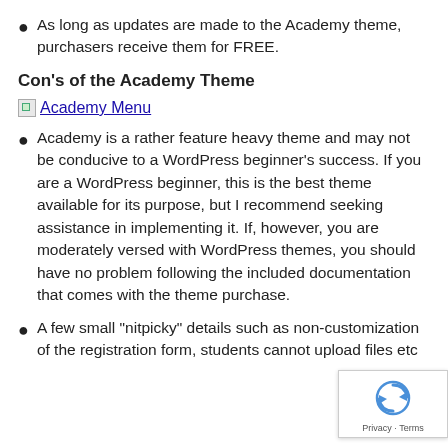As long as updates are made to the Academy theme, purchasers receive them for FREE.
Con's of the Academy Theme
[Figure (other): Broken image icon with link text 'Academy Menu']
Academy is a rather feature heavy theme and may not be conducive to a WordPress beginner’s success. If you are a WordPress beginner, this is the best theme available for its purpose, but I recommend seeking assistance in implementing it. If, however, you are moderately versed with WordPress themes, you should have no problem following the included documentation that comes with the theme purchase.
A few small “nitpicky” details such as non-customization of the registration form, students cannot upload files etc